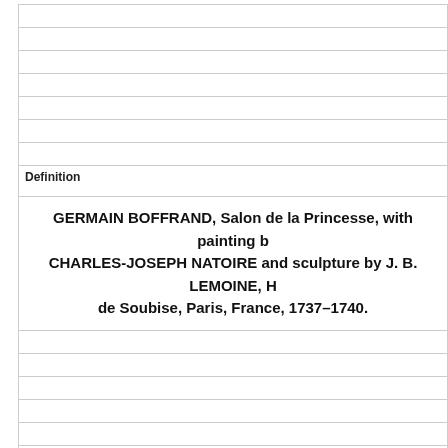Definition
GERMAIN BOFFRAND, Salon de la Princesse, with painting by CHARLES-JOSEPH NATOIRE and sculpture by J. B. LEMOINE, Hôtel de Soubise, Paris, France, 1737–1740.
Term
[Figure (other): [image]]